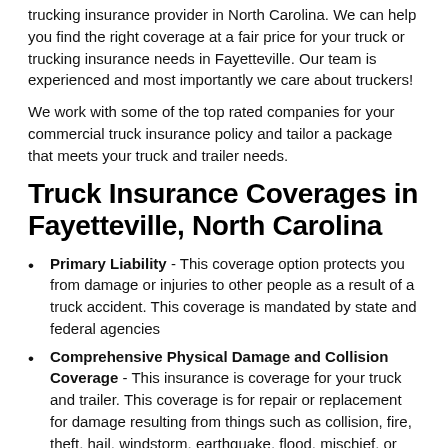trucking insurance provider in North Carolina. We can help you find the right coverage at a fair price for your truck or trucking insurance needs in Fayetteville. Our team is experienced and most importantly we care about truckers!
We work with some of the top rated companies for your commercial truck insurance policy and tailor a package that meets your truck and trailer needs.
Truck Insurance Coverages in Fayetteville, North Carolina
Primary Liability - This coverage option protects you from damage or injuries to other people as a result of a truck accident. This coverage is mandated by state and federal agencies
Comprehensive Physical Damage and Collision Coverage - This insurance is coverage for your truck and trailer. This coverage is for repair or replacement for damage resulting from things such as collision, fire, theft, hail, windstorm, earthquake, flood, mischief, or vandalism to your owned vehicles.
Motor Truck Cargo Coverage / Motor Truck S...